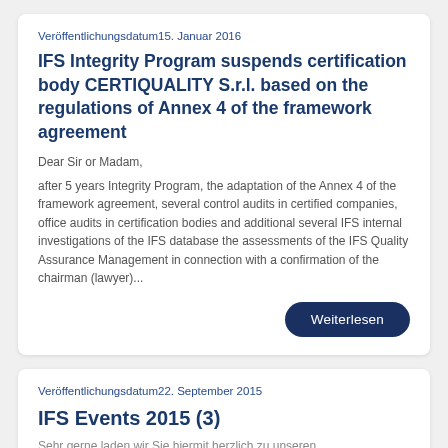Veröffentlichungsdatum15. Januar 2016
IFS Integrity Program suspends certification body CERTIQUALITY S.r.l. based on the regulations of Annex 4 of the framework agreement
Dear Sir or Madam,
after 5 years Integrity Program, the adaptation of the Annex 4 of the framework agreement, several control audits in certified companies, office audits in certification bodies and additional several IFS internal investigations of the IFS database the assessments of the IFS Quality Assurance Management in connection with a confirmation of the chairman (lawyer)...
Weiterlesen
Veröffentlichungsdatum22. September 2015
IFS Events 2015 (3)
Sehr gerne laden wir Sie hiermit herzlich zu unseren